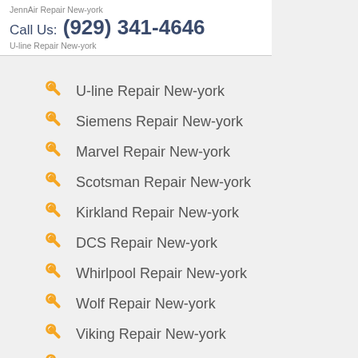JennAir Repair New-york
Call Us: (929) 341-4646
U-line Repair New-york
U-line Repair New-york
Siemens Repair New-york
Marvel Repair New-york
Scotsman Repair New-york
Kirkland Repair New-york
DCS Repair New-york
Whirlpool Repair New-york
Wolf Repair New-york
Viking Repair New-york
Thermador Repair New-york
Sub-Zero Repair New-york
Sears Repair New-york
Samsung Repair New-york